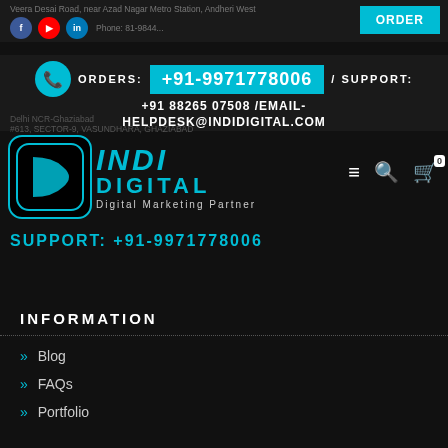Veera Desai Road, near Azad Nagar Metro Station, Andheri West
ORDERS: +91-9971778008 / SUPPORT:
+91 88265 07508 /EMAIL- HELPDESK@INDIDIGITAL.COM
Delhi NCR-Ghaziabad
#613, SECTOR-9, VASUNDHARA, GHAZIABAD
[Figure (logo): Indi Digital logo with teal D icon and text 'INDI DIGITAL - Digital Marketing Partner']
SUPPORT: +91-9971778006
INFORMATION
» Blog
» FAQs
» Portfolio